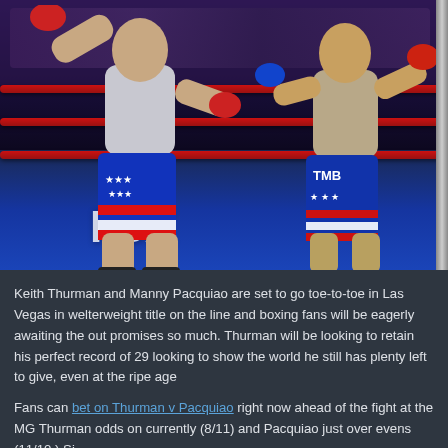[Figure (photo): Two boxers fighting in a boxing ring. The left boxer wears American flag-themed shorts (red, white, blue with stars and stripes), while the right boxer wears similar patriotic shorts with 'TMB' written on them. The ring has red ropes and a blue canvas with FOX branding. A crowd is visible in the background.]
Keith Thurman and Manny Pacquiao are set to go toe-to-toe in Las Vegas in welterweight title on the line and boxing fans will be eagerly awaiting the out promises so much. Thurman will be looking to retain his perfect record of 29 looking to show the world he still has plenty left to give, even at the ripe age
Fans can bet on Thurman v Pacquiao right now ahead of the fight at the MG Thurman odds on currently (8/11) and Pacquiao just over evens (11/10.) Si